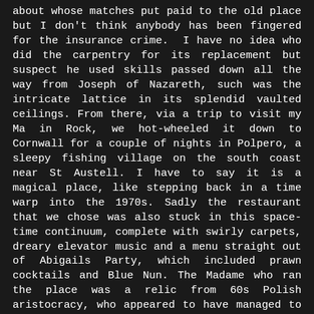about whose matches put paid to the old place but I don't think anybody has been fingered for the insurance crime.  I have no idea who did the carpentry for its replacement but suspect he used skills passed down all the way from Joseph of Nazareth, such was the intricate lattice in its splendid vaulted ceilings. From there, via a trip to visit my Ma in Rock, we hot-wheeled it down to Cornwall for a couple of nights in Polpero, a sleepy fishing village on the south coast near St Austell. I have to say it is a magical place, like stepping back in a time warp into the 1970s. Sadly the restaurant that we chose was also stuck in this space-time continuum, complete with swirly carpets, dreary elevator music and a menu straight out of Abigails Party, which included prawn cocktails and Blue Nun. The Madame who ran the place was a relic from 60s Polish aristocracy, who appeared to have managed to salvage all her furniture prior to the revolution. In fact the only thing that had been modernised were the prices, which would have made a Swiss banker blush. From there we headed to St Ives, one of my favourite haunts of old. A meal in the Porthminster Café, right on the beach made up for the previous night's terror, so fabulous was its food, décor and staff. Despite gentle drizzle, a few hours